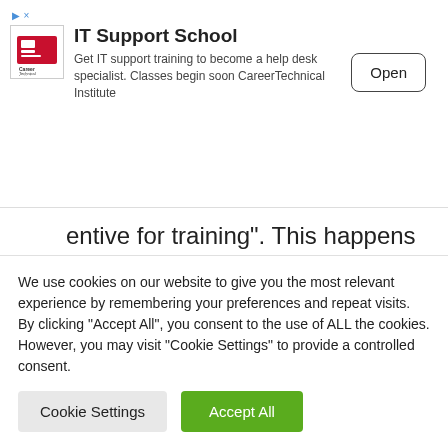[Figure (screenshot): Advertisement banner for IT Support School by CareerTechnical Institute with logo, text, and Open button]
entive for training". This happens during leave, which is already allowed by Blanquer law.
"I think about teacher productivity," G Longuet said. "The countries with the
We use cookies on our website to give you the most relevant experience by remembering your preferences and repeat visits. By clicking "Accept All", you consent to the use of ALL the cookies. However, you may visit "Cookie Settings" to provide a controlled consent.